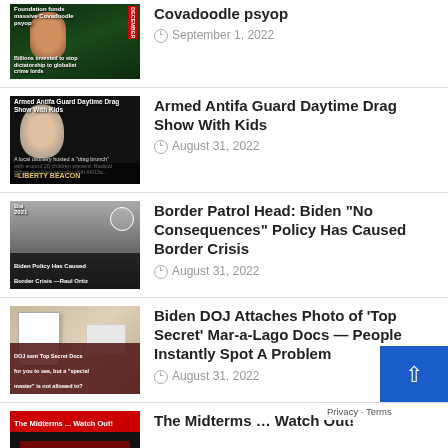[Figure (photo): Thumbnail image for Covadoodle psyop article with green background and face]
Covadoodle psyop
September 1, 2022
[Figure (photo): Thumbnail image: Armed Antifa Guard Daytime Drag Show With Kids - Liberty Beacon]
Armed Antifa Guard Daytime Drag Show With Kids
August 31, 2022
[Figure (photo): Thumbnail image: Border Patrol Head about Biden No Consequences Policy Has Caused Border Crisis]
Border Patrol Head: Biden “No Consequences” Policy Has Caused Border Crisis
August 31, 2022
[Figure (photo): Thumbnail image: Biden DOJ Top Secret Mar-a-Lago Docs documents]
Biden DOJ Attaches Photo of ‘Top Secret’ Mar-a-Lago Docs — People Instantly Spot A Problem
August 31, 2022
[Figure (photo): Thumbnail image: The Midterms Watch Out with US flag]
The Midterms … Watch Out!